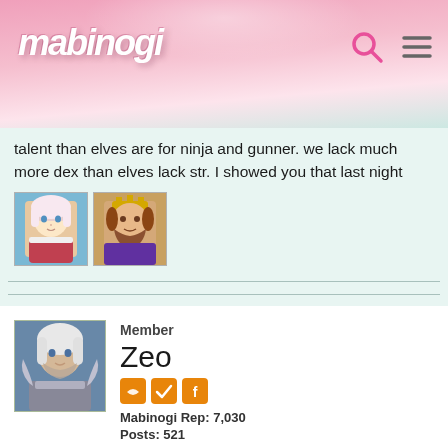mabinogi
talent than elves are for ninja and gunner. we lack much more dex than elves lack str. I showed you that last night
[Figure (illustration): Two character avatars side by side: an anime-style female character and a bearded male character]
Member
Zeo
Mabinogi Rep: 7,030
Posts: 521
JULY 10, 2017  EDITED JULY 10, 2017
Arjune wrote: »
@Zeo I don't see why you're getting that mad. Might of Ladeca can only be used once every ingame day, and most giants don't even have the full duration yet. It's